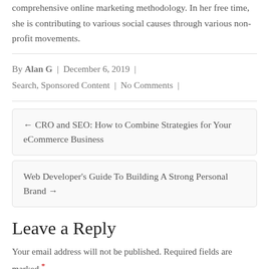comprehensive online marketing methodology. In her free time, she is contributing to various social causes through various non-profit movements.
By Alan G  |  December 6, 2019  |  Search, Sponsored Content  |  No Comments  |
← CRO and SEO: How to Combine Strategies for Your eCommerce Business
Web Developer's Guide To Building A Strong Personal Brand →
Leave a Reply
Your email address will not be published. Required fields are marked *
Comment *